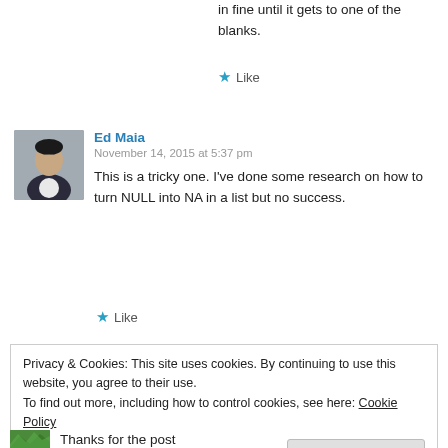in fine until it gets to one of the blanks.
★ Like
Ed Maia
November 14, 2015 at 5:37 pm
This is a tricky one. I've done some research on how to turn NULL into NA in a list but no success.
★ Like
Privacy & Cookies: This site uses cookies. By continuing to use this website, you agree to their use.
To find out more, including how to control cookies, see here: Cookie Policy
Close and accept
Thanks for the post